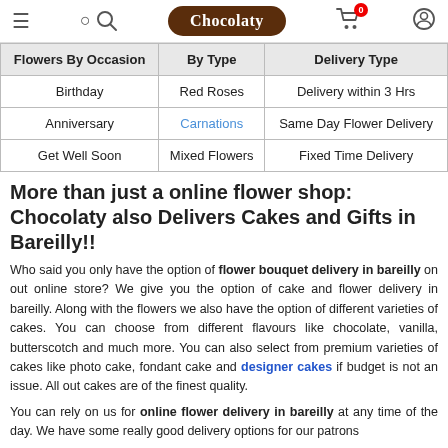Chocolaty — navigation bar with menu, search, logo, cart (0), user icon
| Flowers By Occasion | By Type | Delivery Type |
| --- | --- | --- |
| Birthday | Red Roses | Delivery within 3 Hrs |
| Anniversary | Carnations | Same Day Flower Delivery |
| Get Well Soon | Mixed Flowers | Fixed Time Delivery |
More than just a online flower shop: Chocolaty also Delivers Cakes and Gifts in Bareilly!!
Who said you only have the option of flower bouquet delivery in bareilly on out online store? We give you the option of cake and flower delivery in bareilly. Along with the flowers we also have the option of different varieties of cakes. You can choose from different flavours like chocolate, vanilla, butterscotch and much more. You can also select from premium varieties of cakes like photo cake, fondant cake and designer cakes if budget is not an issue. All out cakes are of the finest quality.
You can rely on us for online flower delivery in bareilly at any time of the day. We have some really good delivery options for our patrons